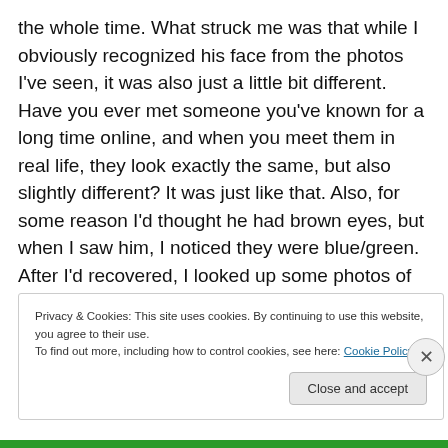the whole time.  What struck me was that while I obviously recognized his face from the photos I've seen, it was also just a little bit different.  Have you ever met someone you've known for a long time online, and when you meet them in real life, they look exactly the same, but also slightly different?  It was just like that.  Also, for some reason I'd thought he had brown eyes, but when I saw him, I noticed they were blue/green.  After I'd recovered, I looked up some photos of him and he did indeed have blue/green eyes.
Privacy & Cookies: This site uses cookies. By continuing to use this website, you agree to their use.
To find out more, including how to control cookies, see here: Cookie Policy